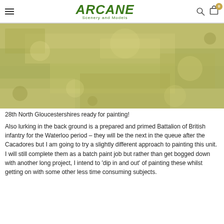ARCANE Scenery and Models
[Figure (photo): Close-up texture photo of grass/sand-coloured terrain showing 28th North Gloucestershires miniatures primed and ready for painting]
28th North Gloucestershires ready for painting!
Also lurking in the back ground is a prepared and primed Battalion of British infantry for the Waterloo period – they will be the next in the queue after the Cacadores but I am going to try a slightly different approach to painting this unit. I will still complete them as a batch paint job but rather than get bogged down with another long project, I intend to 'dip in and out' of painting these whilst getting on with some other less time consuming subjects.